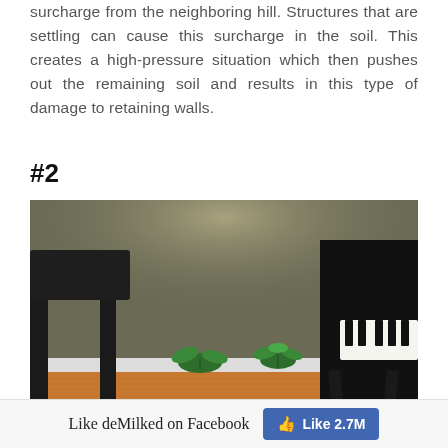surcharge from the neighboring hill. Structures that are settling can cause this surcharge in the soil. This creates a high-pressure situation which then pushes out the remaining soil and results in this type of damage to retaining walls.
#2
[Figure (photo): Indoor photo showing plants growing through a baseboard at the base of a dark wall, with a chair on the left and a piano on the right]
Like deMilked on Facebook   Like 2.7M